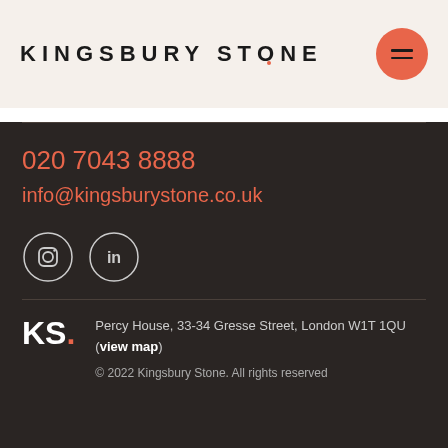KINGSBURY STONE
020 7043 8888
info@kingsburystone.co.uk
[Figure (logo): Instagram and LinkedIn social media icons in circles]
[Figure (logo): KS. logo mark for Kingsbury Stone]
Percy House, 33-34 Gresse Street, London W1T 1QU (view map)
© 2022 Kingsbury Stone. All rights reserved